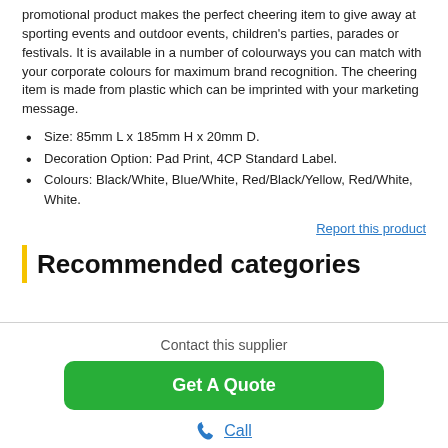promotional product makes the perfect cheering item to give away at sporting events and outdoor events, children's parties, parades or festivals. It is available in a number of colourways you can match with your corporate colours for maximum brand recognition. The cheering item is made from plastic which can be imprinted with your marketing message.
Size: 85mm L x 185mm H x 20mm D.
Decoration Option: Pad Print, 4CP Standard Label.
Colours: Black/White, Blue/White, Red/Black/Yellow, Red/White, White.
Report this product
Recommended categories
Contact this supplier
Get A Quote
Call